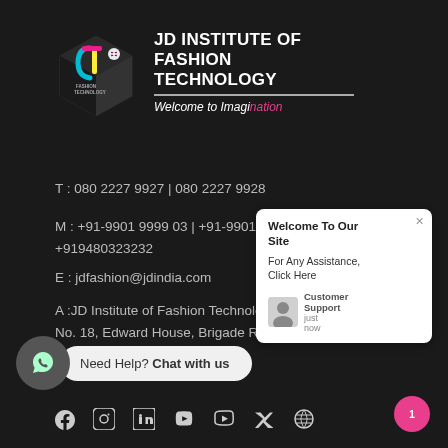[Figure (logo): JD Institute of Fashion Technology logo - 3D cube with colorful J shape and UK flag]
JD INSTITUTE OF FASHION TECHNOLOGY
Welcome to Imagination
T : 080 2227 9927 | 080 2227 9928
M : +91-9901 9999 03 | +91-9901 9999 04 | +919480323232
E : jdfashion@jdindia.com
A :JD Institute of Fashion Technology, No. 18, Edward House, Brigade Road, Bangalore – 560 001
Welcome To Our Site
For Any Assistance, Click Here
Customer Support  just now
Need Help? Chat with us
[Figure (illustration): Social media icons: Facebook, Instagram, LinkedIn, YouTube, Twitter, Pinterest]